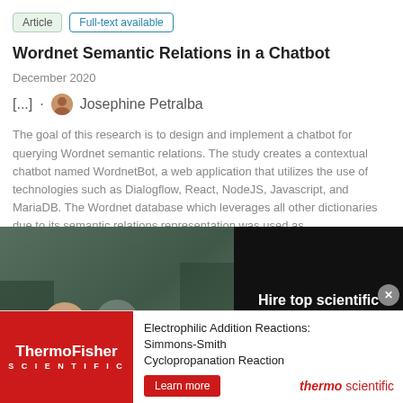Article  Full-text available
Wordnet Semantic Relations in a Chatbot
December 2020
[...] · Josephine Petralba
The goal of this research is to design and implement a chatbot for querying Wordnet semantic relations. The study creates a contextual chatbot named WordnetBot, a web application that utilizes the use of technologies such as Dialogflow, React, NodeJS, Javascript, and MariaDB. The Wordnet database which leverages all other dictionaries due to its semantic relations representation was used as
[Figure (photo): Video advertisement showing scientists/researchers in lab coats in a laboratory setting, with play button overlay. Text overlay reads 'HIRE TOP SCIENTIFIC TALENT WITH RESEARCHGATE'. Right side dark panel with white text: 'Hire top scientific talent with ResearchGate']
[Figure (photo): ThermoFisher Scientific advertisement banner. Left: red background with ThermoFisher Scientific logo. Right: product text 'Electrophilic Addition Reactions: Simmons-Smith Cyclopropanation Reaction' with 'Learn more' button and thermo scientific logo.]